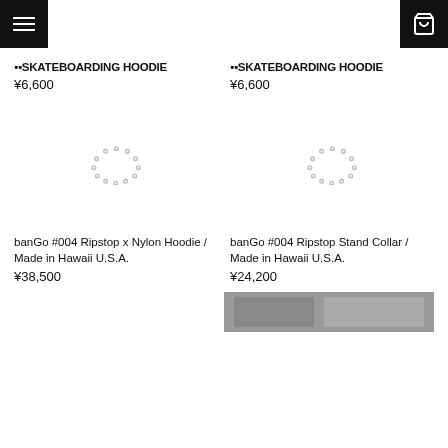Navigation menu and cart
🀱🀰SKATEBOARDING HOODIE
¥6,600
🀱🀰SKATEBOARDING HOODIE
¥6,600
[Figure (other): Loading spinner for product image]
[Figure (other): Loading spinner for product image]
banGo #004 Ripstop x Nylon Hoodie / Made in Hawaii U.S.A.
¥38,500
banGo #004 Ripstop Stand Collar / Made in Hawaii U.S.A.
¥24,200
[Figure (photo): Partial product image at bottom right]